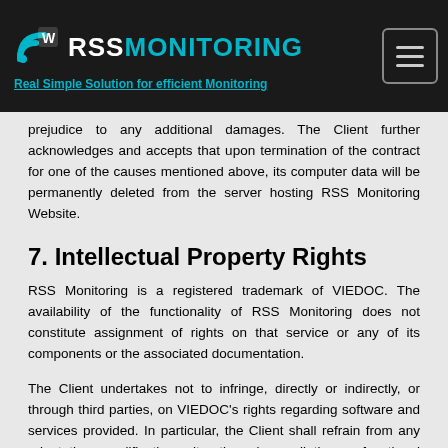RSS MONITORING — Real Simple Solution for efficient Monitoring
prejudice to any additional damages. The Client further acknowledges and accepts that upon termination of the contract for one of the causes mentioned above, its computer data will be permanently deleted from the server hosting RSS Monitoring Website.
7. Intellectual Property Rights
RSS Monitoring is a registered trademark of VIEDOC. The availability of the functionality of RSS Monitoring does not constitute assignment of rights on that service or any of its components or the associated documentation.
The Client undertakes not to infringe, directly or indirectly, or through third parties, on VIEDOC's rights regarding software and services provided. In particular, the Client shall refrain from any adaptation, modification, alteration, decompilation or functional analysis of RSS Monitoring, for any reason whatsoever. Any full or partial reproduction of the website www.rss